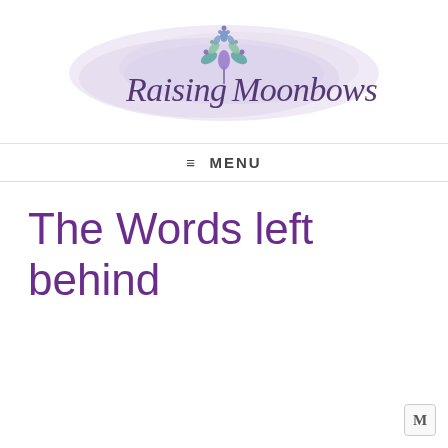[Figure (logo): Raising Moonbows logo: script text 'Raising Moonbows' with a stylized lotus/tree figure in purple, teal, and green above it, set against a soft purple-pink watercolor blurred background.]
≡ MENU
The Words left behind